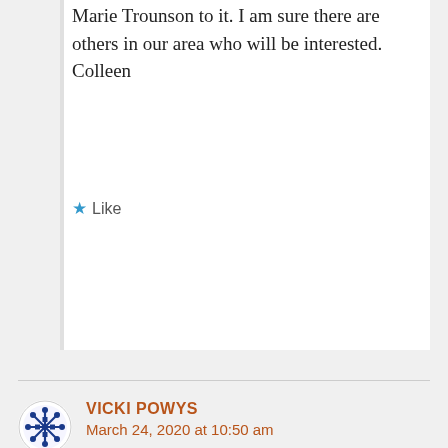Marie Trounson to it. I am sure there are others in our area who will be interested. Colleen
★ Like
VICKI POWYS
March 24, 2020 at 10:50 am
What an interesting piece! Thanks so much. I researched Peggy and Jimmy Lambert for my 'People of Capertee Valley' book, a couple of years ago, and also noted other references to Indigenous local people in newspaper and other